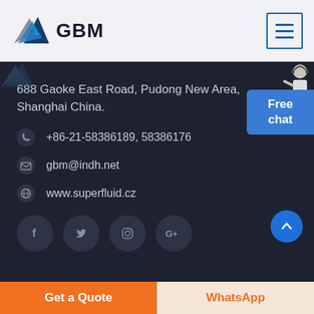[Figure (logo): GBM logo with triangular mountain/paper-plane icon in blue and grey, company name GBM in bold black]
[Figure (other): Hamburger menu icon in blue border box]
688 Gaoke East Road, Pudong New Area, Shanghai China.
+86-21-58386189, 58386176
gbm@indh.net
www.superfluid.cz
[Figure (other): Social media icons: Facebook, Twitter, Instagram, Google+]
[Figure (other): Free chat button widget with customer service representative illustration]
[Figure (other): Scroll to top blue circle button with upward chevron]
Get a Quote
WhatsApp